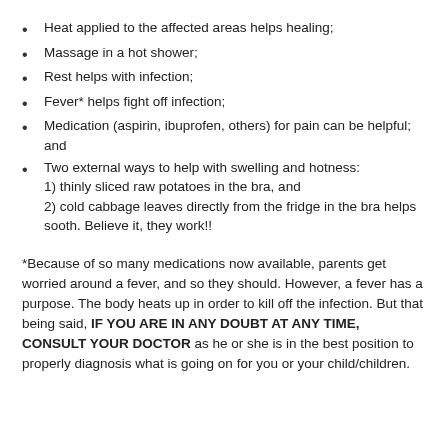Heat applied to the affected areas helps healing;
Massage in a hot shower;
Rest helps with infection;
Fever* helps fight off infection;
Medication (aspirin, ibuprofen, others) for pain can be helpful; and
Two external ways to help with swelling and hotness: 1) thinly sliced raw potatoes in the bra, and 2) cold cabbage leaves directly from the fridge in the bra helps sooth. Believe it, they work!!
*Because of so many medications now available, parents get worried around a fever, and so they should. However, a fever has a purpose. The body heats up in order to kill off the infection. But that being said, IF YOU ARE IN ANY DOUBT AT ANY TIME, CONSULT YOUR DOCTOR as he or she is in the best position to properly diagnosis what is going on for you or your child/children.